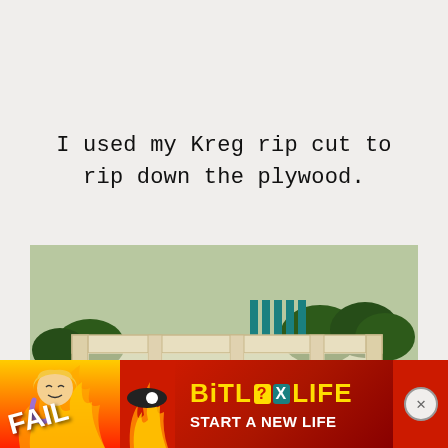I used my Kreg rip cut to rip down the plywood.
[Figure (photo): A wooden plywood shelf unit with four open cubbies and a bottom shelf, sitting on small feet on a stone patio outdoors. Bushes and grass visible in background.]
[Figure (screenshot): Advertisement banner for BitLife mobile game featuring the word FAIL in bold text, a cartoon blonde character, flames, and the text START A NEW LIFE on a red background. A close button (X) is on the right.]